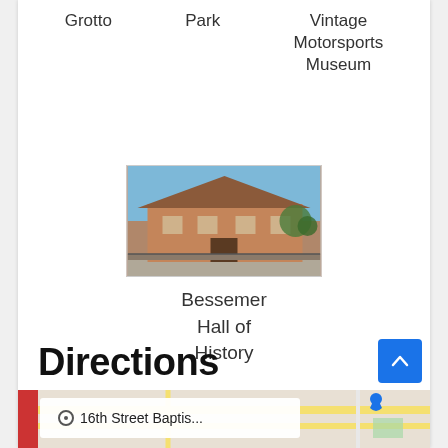Grotto
Park
Vintage Motorsports Museum
[Figure (photo): Photograph of the Bessemer Hall of History building, a brick structure with a prominent roof, seen from the exterior near a platform or walkway under a blue sky.]
Bessemer Hall of History
Directions
[Figure (map): Partial map view showing street layout with a location marker labeled '16th Street Baptis...']